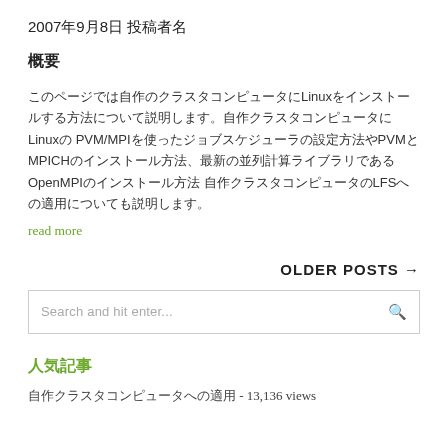2007年9月8日 投稿者名
概要
このページでは自作のクラスタコンピュータにLinuxをインストールする方法について説明します。自作クラスタコンピュータにLinuxの MVM/MPIを使ったジョブスケジューラの設定方法やPVMとMPICHのインストール方法、最新の並列計算ライブラリであるOpenMPIのインストール方法 自作クラスタコンピュータのLFSへの適用についても説明します。
read more
OLDER POSTS →
Search and hit enter...
人気記事
自作クラスタコンピュータへの適用 - 13,136 views